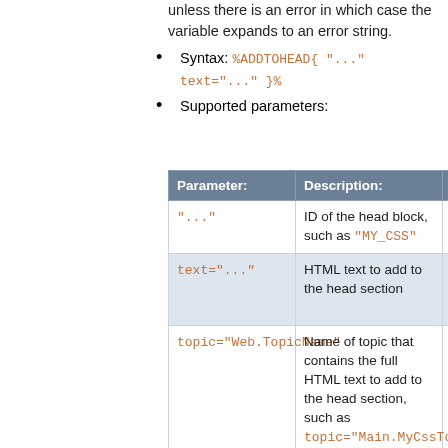unless there is an error in which case the variable expands to an error string.
Syntax: %ADDTOHEAD{ "..." text="..." }%
Supported parameters:
| Parameter: | Description: | Comments: |
| --- | --- | --- |
| "..." | ID of the head block, such as "MY_CSS" | Optional, recommended |
| text="..." | HTML text to add to the head section | Mutually exclusive with topic="..." |
| topic="Web.TopicName" | Name of topic that contains the full HTML text to add to the head section, such as topic="Main.MyCssTopic" | Mutually exclusive with text="" |
| section="name" | If topic parameter is used, includes only the specified named section, as defined in the topic by the STARTSECTION and ENDSECTION | Optional |